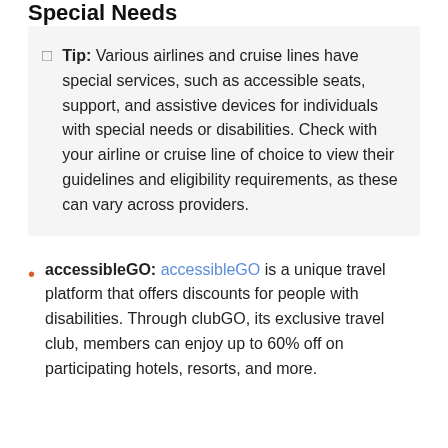Special Needs
Tip: Various airlines and cruise lines have special services, such as accessible seats, support, and assistive devices for individuals with special needs or disabilities. Check with your airline or cruise line of choice to view their guidelines and eligibility requirements, as these can vary across providers.
accessibleGO: accessibleGO is a unique travel platform that offers discounts for people with disabilities. Through clubGO, its exclusive travel club, members can enjoy up to 60% off on participating hotels, resorts, and more.